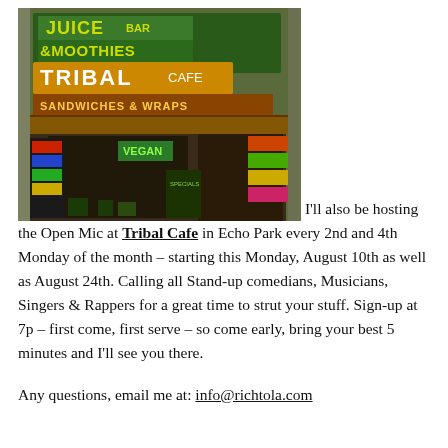[Figure (photo): Exterior storefront photo of Tribal Cafe in Echo Park, showing colorful signage for Juice Bar, Smoothies, Tribal Cafe, Sandwiches & Wraps, and Vegan items. The storefront has an awning and various signs with colorful lettering.]
I'll also be hosting the Open Mic at Tribal Cafe in Echo Park every 2nd and 4th Monday of the month – starting this Monday, August 10th as well as August 24th. Calling all Stand-up comedians, Musicians, Singers & Rappers for a great time to strut your stuff. Sign-up at 7p – first come, first serve – so come early, bring your best 5 minutes and I'll see you there.
Any questions, email me at: info@richtola.com